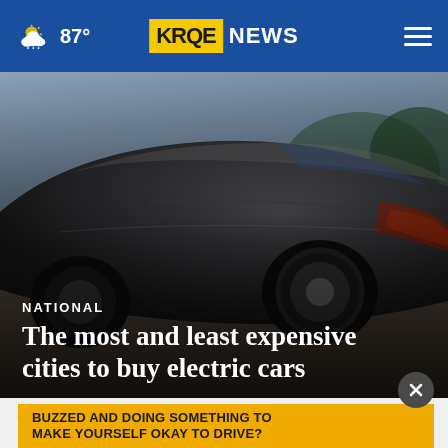87° KRQE NEWS
[Figure (photo): Close-up view of a dark Tesla Model S electric car from the side, showing the rear wheel and body panel, with a blurred background]
NATIONAL
The most and least expensive cities to buy electric cars
A view of a Tesla Model S at the 2018 Nantucket Film Festival in Nantucket... for Nantucket... Read M...
BUZZED AND DOING SOMETHING TO MAKE YOURSELF OKAY TO DRIVE?